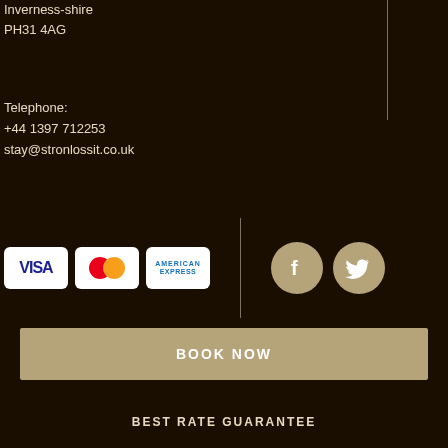Inverness-shire
PH31 4AG
Telephone:
+44 1397 712253
stay@stronlossit.co.uk
[Figure (infographic): Payment method logos (VISA, Mastercard, American Express) and social media icons (Facebook, Twitter) on dark background with vertical divider]
BOOK NOW
BEST RATE GUARANTEE